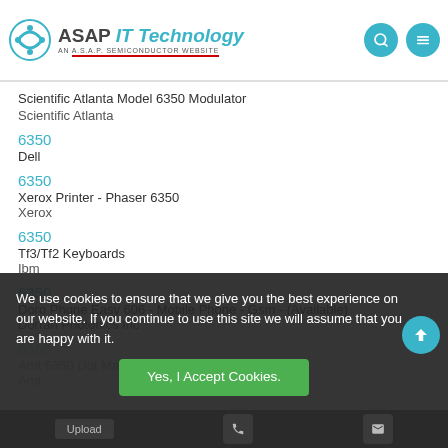ASAP IT Technology — AN A.S.A.P. SEMICONDUCTOR WEBSITE
Scientific Atlanta Model 6350 Modulator
Scientific Atlanta
6350
Dell
6350
Xerox Printer - Phaser 6350
Xerox
6350
Tf3/Tf2 Keyboards
Ibm
6350
Doro Phone Easy 606 - Mobile Phone - Gsm - (Available)
Dorran Photonics Inc
6350
Amt 6350 Dot Matrix Printer
Amt
We use cookies to ensure that we give you the best experience on our website. If you continue to use this site we will assume that you are happy with it.
Yes, I Accept Cookies.